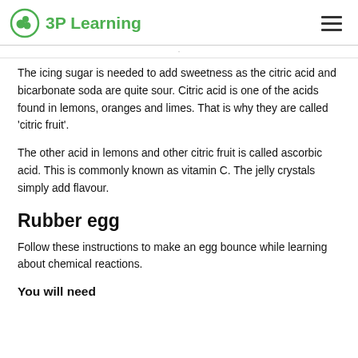3P Learning
The icing sugar is needed to add sweetness as the citric acid and bicarbonate soda are quite sour. Citric acid is one of the acids found in lemons, oranges and limes. That is why they are called 'citric fruit'.
The other acid in lemons and other citric fruit is called ascorbic acid. This is commonly known as vitamin C. The jelly crystals simply add flavour.
Rubber egg
Follow these instructions to make an egg bounce while learning about chemical reactions.
You will need